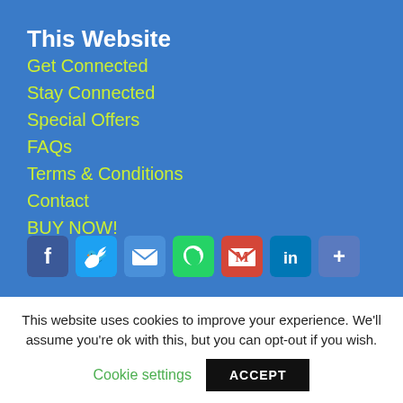This Website
Get Connected
Stay Connected
Special Offers
FAQs
Terms & Conditions
Contact
BUY NOW!
[Figure (infographic): Social sharing icons: Facebook (blue), Twitter (blue), Email (blue), WhatsApp (green), Gmail (red), LinkedIn (blue), Share/More (blue)]
This website uses cookies to improve your experience. We'll assume you're ok with this, but you can opt-out if you wish.
Cookie settings   ACCEPT